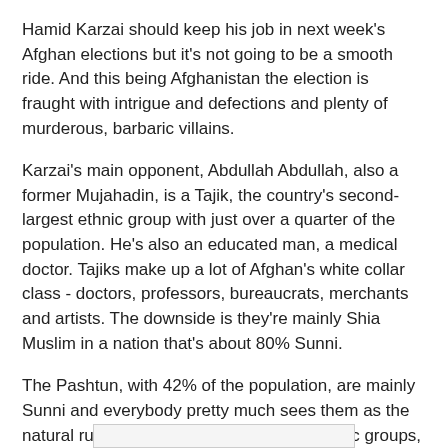Hamid Karzai should keep his job in next week's Afghan elections but it's not going to be a smooth ride. And this being Afghanistan the election is fraught with intrigue and defections and plenty of murderous, barbaric villains.
Karzai's main opponent, Abdullah Abdullah, also a former Mujahadin, is a Tajik, the country's second-largest ethnic group with just over a quarter of the population. He's also an educated man, a medical doctor. Tajiks make up a lot of Afghan's white collar class - doctors, professors, bureaucrats, merchants and artists. The downside is they're mainly Shia Muslim in a nation that's about 80% Sunni.
The Pashtun, with 42% of the population, are mainly Sunni and everybody pretty much sees them as the natural rulers of the country. The other ethnic groups, Tajik, Uzbek, Hazara, Turkmen, etc. were just travelling through and decided to stay. That's why there are close to 30-languages spoken in Afghanistan today.